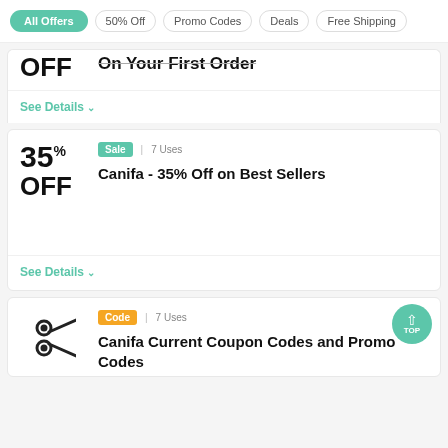All Offers | 50% Off | Promo Codes | Deals | Free Shipping
OFF  On Your First Order
See Details
Sale | 7 Uses
35% OFF
Canifa - 35% Off on Best Sellers
See Details
Code | 7 Uses
Canifa Current Coupon Codes and Promo Codes